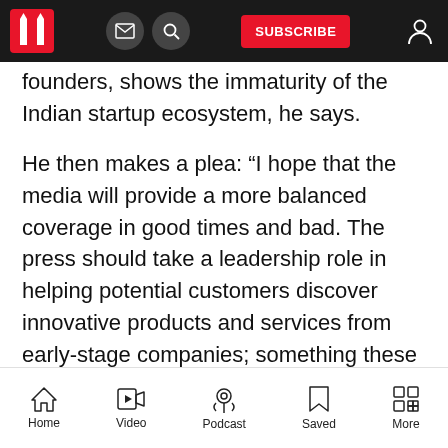SUBSCRIBE
founders, shows the immaturity of the Indian startup ecosystem, he says.
He then makes a plea: “I hope that the media will provide a more balanced coverage in good times and bad. The press should take a leadership role in helping potential customers discover innovative products and services from early-stage companies; something these companies do not have the resources to do themselves.”
Home  Video  Podcast  Saved  More